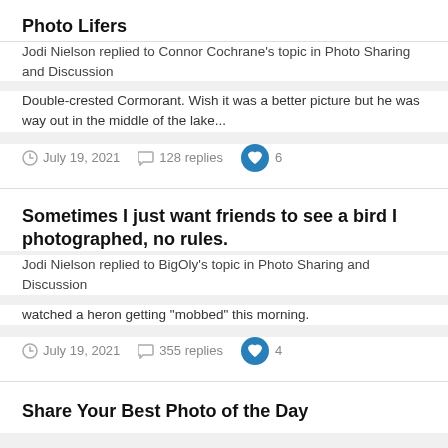Photo Lifers
Jodi Nielson replied to Connor Cochrane's topic in Photo Sharing and Discussion
Double-crested Cormorant. Wish it was a better picture but he was way out in the middle of the lake...
July 19, 2021   128 replies   6
Sometimes I just want friends to see a bird I photographed, no rules.
Jodi Nielson replied to BigOly's topic in Photo Sharing and Discussion
watched a heron getting "mobbed" this morning.
July 19, 2021   355 replies   4
Share Your Best Photo of the Day